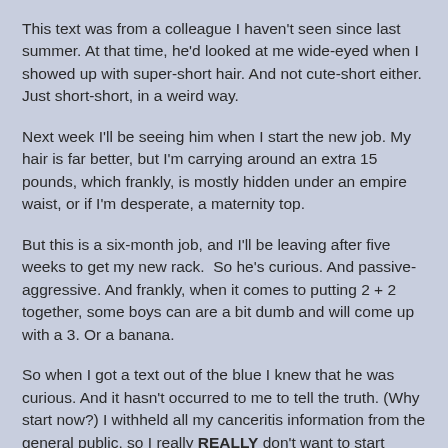This text was from a colleague I haven't seen since last summer. At that time, he'd looked at me wide-eyed when I showed up with super-short hair. And not cute-short either. Just short-short, in a weird way.
Next week I'll be seeing him when I start the new job. My hair is far better, but I'm carrying around an extra 15 pounds, which frankly, is mostly hidden under an empire waist, or if I'm desperate, a maternity top.
But this is a six-month job, and I'll be leaving after five weeks to get my new rack.  So he's curious. And passive-aggressive. And frankly, when it comes to putting 2 + 2 together, some boys can are a bit dumb and will come up with a 3. Or a banana.
So when I got a text out of the blue I knew that he was curious. And it hasn't occurred to me to tell the truth. (Why start now?) I withheld all my canceritis information from the general public, so I really REALLY don't want to start talking about reconstructive surgery to just anyone.